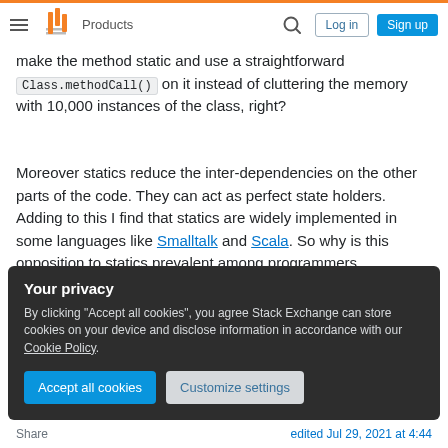Stack Overflow navigation — hamburger menu, logo, Products, search, Log in, Sign up
make the method static and use a straightforward Class.methodCall() on it instead of cluttering the memory with 10,000 instances of the class, right?
Moreover statics reduce the inter-dependencies on the other parts of the code. They can act as perfect state holders. Adding to this I find that statics are widely implemented in some languages like Smalltalk and Scala. So why is this opposition to statics prevalent among programmers (especially in the world of Java)?
Your privacy
By clicking "Accept all cookies", you agree Stack Exchange can store cookies on your device and disclose information in accordance with our Cookie Policy.
Share    edited Jul 29, 2021 at 4:44